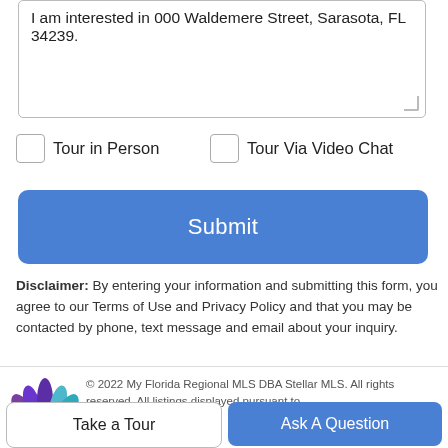I am interested in 000 Waldemere Street, Sarasota, FL 34239.
Tour in Person
Tour Via Video Chat
Submit
Disclaimer: By entering your information and submitting this form, you agree to our Terms of Use and Privacy Policy and that you may be contacted by phone, text message and email about your inquiry.
© 2022 My Florida Regional MLS DBA Stellar MLS. All rights reserved. All listings displayed pursuant to
Take a Tour
Ask A Question